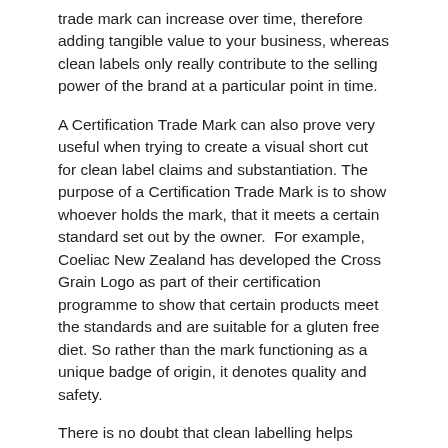trade mark can increase over time, therefore adding tangible value to your business, whereas clean labels only really contribute to the selling power of the brand at a particular point in time.
A Certification Trade Mark can also prove very useful when trying to create a visual short cut for clean label claims and substantiation. The purpose of a Certification Trade Mark is to show whoever holds the mark, that it meets a certain standard set out by the owner.  For example, Coeliac New Zealand has developed the Cross Grain Logo as part of their certification programme to show that certain products meet the standards and are suitable for a gluten free diet. So rather than the mark functioning as a unique badge of origin, it denotes quality and safety.
There is no doubt that clean labelling helps deliver authenticism and brand ethos – but it does not replace the brand. Even Certification Trade Marks which go a tad further in conveying these messages, still needs to sit alongside a recognisable and distinguishable brand to drive repeat purchases.
If you need help assessing your labels and brand strategy so that they fit seamlessly side by side, please reach out for